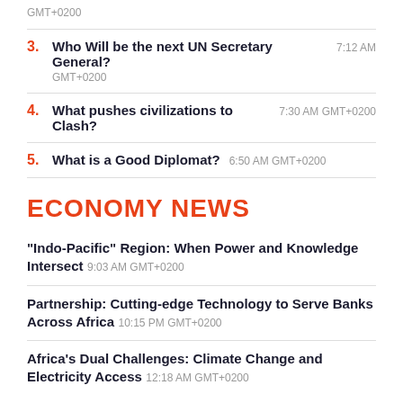GMT+0200
3. Who Will be the next UN Secretary General? 7:12 AM GMT+0200
4. What pushes civilizations to Clash? 7:30 AM GMT+0200
5. What is a Good Diplomat? 6:50 AM GMT+0200
ECONOMY NEWS
“Indo-Pacific” Region: When Power and Knowledge Intersect 9:03 AM GMT+0200
Partnership: Cutting-edge Technology to Serve Banks Across Africa 10:15 PM GMT+0200
Africa’s Dual Challenges: Climate Change and Electricity Access 12:18 AM GMT+0200